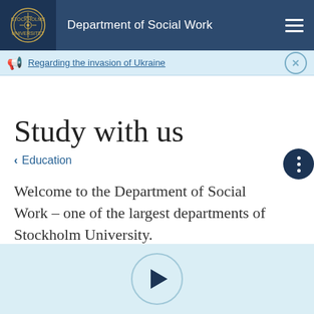Department of Social Work
Regarding the invasion of Ukraine
Study with us
< Education
Welcome to the Department of Social Work – one of the largest departments of Stockholm University.
[Figure (screenshot): Video player thumbnail with play button, light blue background]